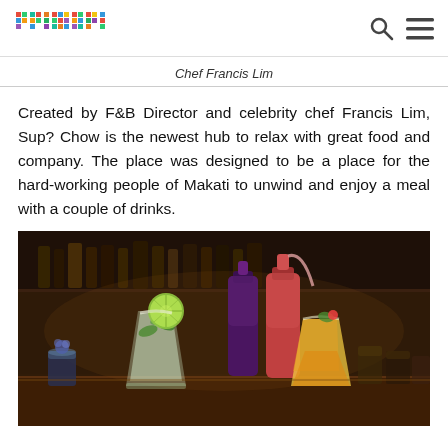primer
Chef Francis Lim
Created by F&B Director and celebrity chef Francis Lim, Sup? Chow is the newest hub to relax with great food and company. The place was designed to be a place for the hard-working people of Makati to unwind and enjoy a meal with a couple of drinks.
[Figure (photo): Colorful cocktail drinks on a bar counter with squeeze bottles of syrups in the background, shot in a warm dim bar setting.]